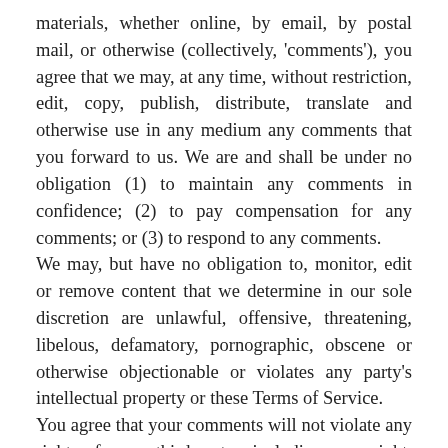materials, whether online, by email, by postal mail, or otherwise (collectively, 'comments'), you agree that we may, at any time, without restriction, edit, copy, publish, distribute, translate and otherwise use in any medium any comments that you forward to us. We are and shall be under no obligation (1) to maintain any comments in confidence; (2) to pay compensation for any comments; or (3) to respond to any comments.
We may, but have no obligation to, monitor, edit or remove content that we determine in our sole discretion are unlawful, offensive, threatening, libelous, defamatory, pornographic, obscene or otherwise objectionable or violates any party's intellectual property or these Terms of Service.
You agree that your comments will not violate any right of any third-party, including copyright, trademark, privacy, personality or other personal or proprietary right. You further agree that your comments will not contain libelous or otherwise unlawful, abusive or obscene material, or contain any computer virus or other malware that could in